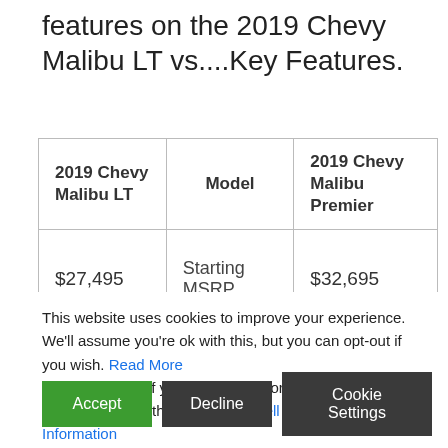features on the 2019 Chevy Malibu LT vs....Key Features.
| 2019 Chevy Malibu LT | Model | 2019 Chevy Malibu Premier |
| --- | --- | --- |
| $27,495 | Starting MSRP | $32,695 |
| 1.5L turbo 4-Cylinder | Engine | 2.0L turbo 4-Cylinder |
This website uses cookies to improve your experience. We'll assume you're ok with this, but you can opt-out if you wish. Read More In case of sale of your personal information, you may opt out by using the link Do Not Sell My Personal Information
What's the difference between Malibu RS and LT?
searching for top sedan features? The LS is Chevy Malibu has so much to offer for from opt...